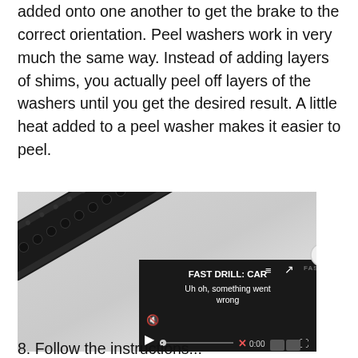added onto one another to get the brake to the correct orientation. Peel washers work in very much the same way. Instead of adding layers of shims, you actually peel off layers of the washers until you get the desired result. A little heat added to a peel washer makes it easier to peel.
[Figure (photo): Photograph of a black AR-style rifle barrel/handguard with a muzzle brake attached, shown diagonally against a light gray/white background. Two small metallic washers are visible below the muzzle area. A video player overlay appears in the bottom-right corner showing 'FAST DRILL: CAR' with an error message 'Uh oh, something went wrong' and playback controls showing 0:00.]
8. Follow the instructions...